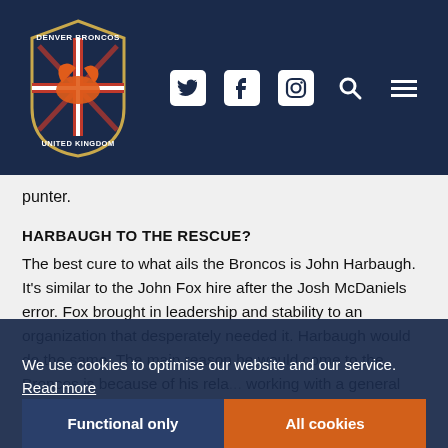[Figure (logo): Denver Broncos United Kingdom logo on dark navy header with Twitter, Facebook, Instagram, search, and menu icons]
punter.
HARBAUGH TO THE RESCUE?
The best cure to what ails the Broncos is John Harbaugh. It's similar to the John Fox hire after the Josh McDaniels error. Fox brought in leadership and stability to an organization that desperately needed it. Harbaugh would do the same. The main reason he would come to the Broncos is because of his rela... working with a general manager similar to Elway in Ozzie Newsome. If and when Harbaugh becomes available, he should be at the top of Elway's list. Not that it matters, but Harbaugh is my top choice.
We use cookies to optimise our website and our service. Read more
Functional only
All cookies